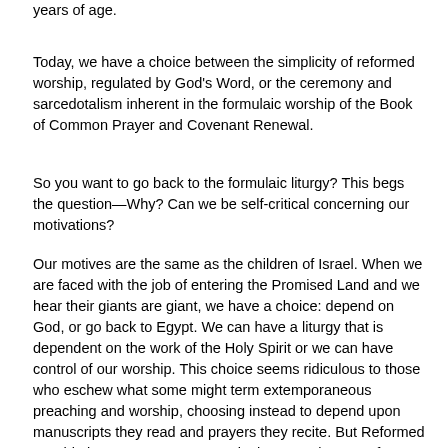years of age.
Today, we have a choice between the simplicity of reformed worship, regulated by God's Word, or the ceremony and sarcedotalism inherent in the formulaic worship of the Book of Common Prayer and Covenant Renewal.
So you want to go back to the formulaic liturgy? This begs the question—Why? Can we be self-critical concerning our motivations?
Our motives are the same as the children of Israel. When we are faced with the job of entering the Promised Land and we hear their giants are giant, we have a choice: depend on God, or go back to Egypt. We can have a liturgy that is dependent on the work of the Holy Spirit or we can have control of our worship. This choice seems ridiculous to those who eschew what some might term extemporaneous preaching and worship, choosing instead to depend upon manuscripts they read and prayers they recite. But Reformed worship is not extemporaneous in the normal sense of "unprepared." Reformed pastors who look at the sheep of their flock and preach to them and lead them in prayer have never held the